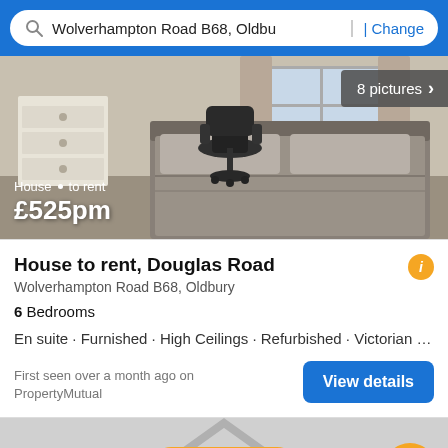Wolverhampton Road B68, Oldbu | Change
[Figure (photo): Bedroom interior showing a bed with grey bedding, office chair, desk, and white chest of drawers. Overlay text shows 'House · to rent £525pm'. Badge shows '8 pictures >']
House to rent, Douglas Road
Wolverhampton Road B68, Oldbury
6 Bedrooms
En suite · Furnished · High Ceilings · Refurbished · Victorian · Kitch
First seen over a month ago on PropertyMutual
[Figure (screenshot): Bottom map/navigation area with house outline graphic, orange Filter button with slider icon, and orange circular up-arrow button]